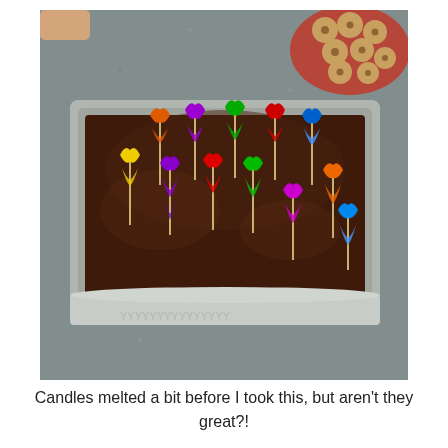[Figure (photo): A chocolate frosted brownie or cake in a rectangular aluminum pan, with colorful melted birthday candles on toothpick sticks arranged in rows. The candles have melted into colorful drips of wax in colors including yellow, purple, red, green, orange, and blue. A plate of chocolate chip cookies is visible in the upper right corner. The pan sits on a gray speckled countertop.]
Candles melted a bit before I took this, but aren't they great?!